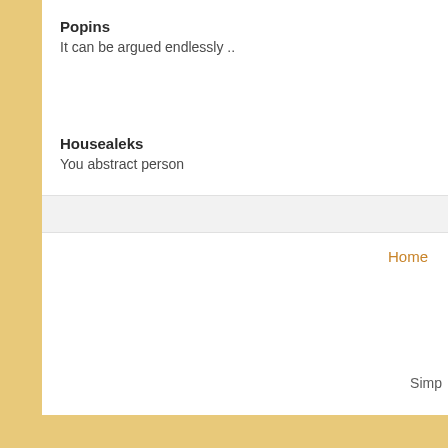Popins
It can be argued endlessly ..
Housealeks
You abstract person
Home
Simp